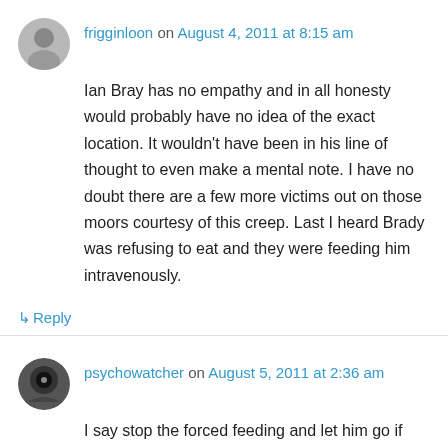frigginloon on August 4, 2011 at 8:15 am
Ian Bray has no empathy and in all honesty would probably have no idea of the exact location. It wouldn't have been in his line of thought to even make a mental note. I have no doubt there are a few more victims out on those moors courtesy of this creep. Last I heard Brady was refusing to eat and they were feeding him intravenously.
↳ Reply
psychowatcher on August 5, 2011 at 2:36 am
I say stop the forced feeding and let him go if that is what he wants.